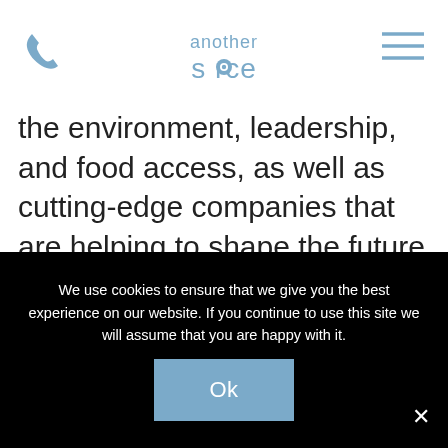another source [logo with phone icon and hamburger menu]
the environment, leadership, and food access, as well as cutting-edge companies that are helping to shape the future of the built environment, data, retail, and human services. We pride ourselves in striving to understand the diversity goals of our clients, regardless of industry, and to provide them with incredible talent. This is why at the end of 2019, we launched an internal
We use cookies to ensure that we give you the best experience on our website. If you continue to use this site we will assume that you are happy with it.
Ok